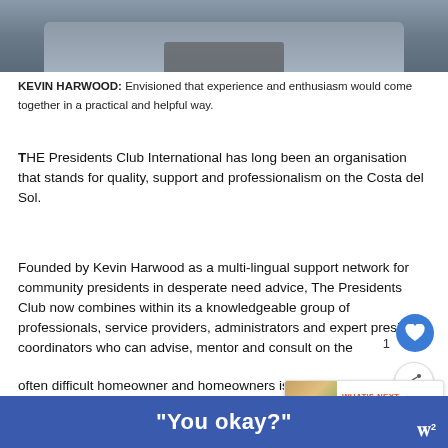[Figure (photo): Photo of Kevin Harwood seated at a desk, wearing a grey top, hands resting on the desk surface. Only the lower portion of the figure is visible.]
KEVIN HARWOOD: Envisioned that experience and enthusiasm would come together in a practical and helpful way.
THE Presidents Club International has long been an organisation that stands for quality, support and professionalism on the Costa del Sol.
Founded by Kevin Harwood as a multi-lingual support network for community presidents in desperate need advice, The Presidents Club now combines within its a knowledgeable group of professionals, service providers, administrators and expert presid coordinators who can advise, mentor and consult on the often difficult homeowner and homeowners issues th in Spain.